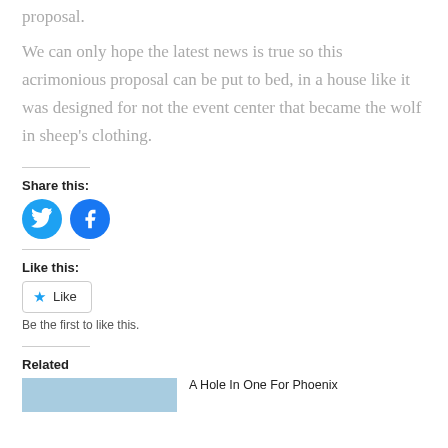proposal.
We can only hope the latest news is true so this acrimonious proposal can be put to bed, in a house like it was designed for not the event center that became the wolf in sheep’s clothing.
Share this:
[Figure (illustration): Twitter and Facebook share icon buttons (blue circles with white bird and f logos)]
Like this:
[Figure (illustration): Like button with star icon]
Be the first to like this.
Related
[Figure (illustration): Blue placeholder image thumbnail for related article]
A Hole In One For Phoenix